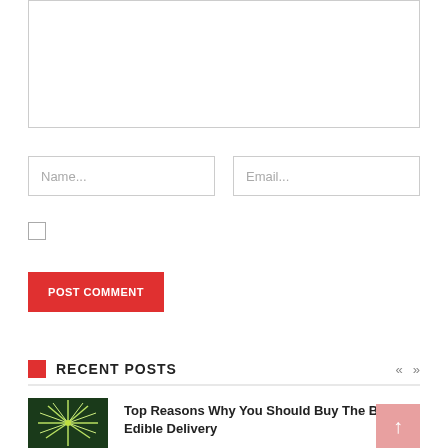[Figure (other): Comment textarea input box (empty)]
[Figure (other): Name text input field with placeholder 'Name...']
[Figure (other): Email text input field with placeholder 'Email...']
[Figure (other): Checkbox (unchecked)]
[Figure (other): POST COMMENT red button]
RECENT POSTS
[Figure (photo): Thumbnail image of a palm tree or firework-like plant]
Top Reasons Why You Should Buy The Best Edible Delivery